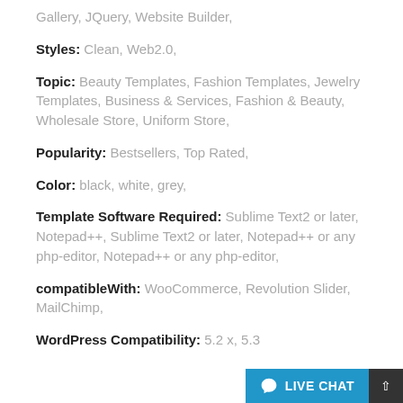Gallery, JQuery, Website Builder,
Styles: Clean, Web2.0,
Topic: Beauty Templates, Fashion Templates, Jewelry Templates, Business & Services, Fashion & Beauty, Wholesale Store, Uniform Store,
Popularity: Bestsellers, Top Rated,
Color: black, white, grey,
Template Software Required: Sublime Text2 or later, Notepad++, Sublime Text2 or later, Notepad++ or any php-editor, Notepad++ or any php-editor,
compatibleWith: WooCommerce, Revolution Slider, MailChimp,
WordPress Compatibility: 5.2 x, 5.3